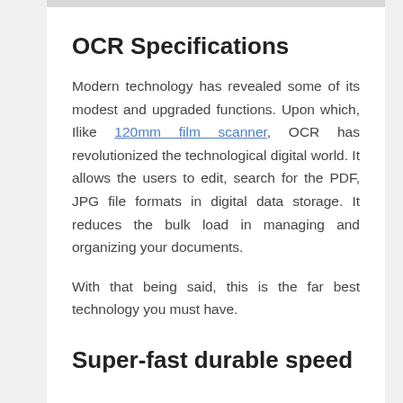OCR Specifications
Modern technology has revealed some of its modest and upgraded functions. Upon which, Ilike 120mm film scanner, OCR has revolutionized the technological digital world. It allows the users to edit, search for the PDF, JPG file formats in digital data storage. It reduces the bulk load in managing and organizing your documents.
With that being said, this is the far best technology you must have.
Super-fast durable speed